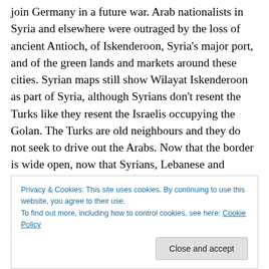join Germany in a future war. Arab nationalists in Syria and elsewhere were outraged by the loss of ancient Antioch, of Iskenderoon, Syria's major port, and of the green lands and markets around these cities. Syrian maps still show Wilayat Iskenderoon as part of Syria, although Syrians don't resent the Turks like they resent the Israelis occupying the Golan. The Turks are old neighbours and they do not seek to drive out the Arabs. Now that the border is wide open, now that Syrians, Lebanese and Jordanians can enter Turkey without a visa, now that Turkish-Syrian trade is burgeoning, Iskenderoon does not
Privacy & Cookies: This site uses cookies. By continuing to use this website, you agree to their use.
To find out more, including how to control cookies, see here: Cookie Policy
are popular figures in Turkey, and Turkish prime minister